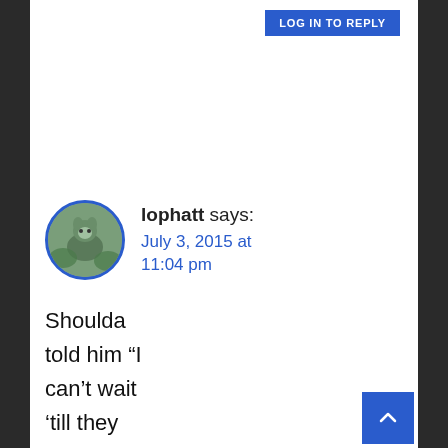LOG IN TO REPLY
[Figure (photo): Circular avatar image of a cat or animal, with blue circular border]
lophatt says:
July 3, 2015 at 11:04 pm
Shoulda told him “I can’t wait ‘till they have us all hand wiring generators in a mud